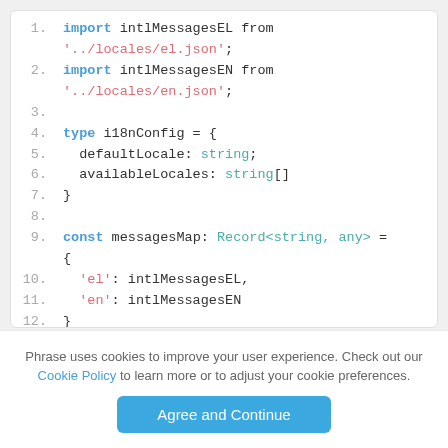[Figure (screenshot): Code editor screenshot showing TypeScript code with line numbers 1-14, importing intlMessagesEL and intlMessagesEN, defining i18nConfig type, messagesMap const, and beginning of LocaleService class.]
Phrase uses cookies to improve your user experience. Check out our Cookie Policy to learn more or to adjust your cookie preferences.